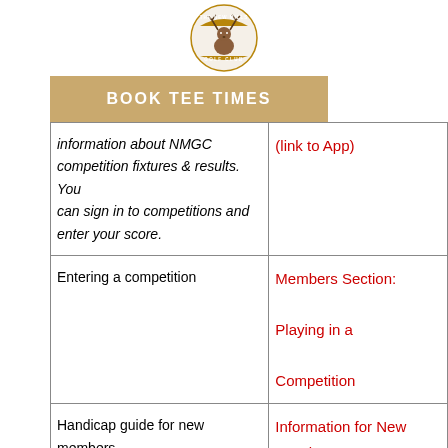[Figure (logo): The New Mills Golf Club logo — circular badge with a deer head and text]
BOOK TEE TIMES
| Topic | Link |
| --- | --- |
| information about NMGC competition fixtures & results. You can sign in to competitions and enter your score. | (link to App) |
| Entering a competition | Members Section: Playing in a Competition |
| Handicap guide for new members | Information for New Members |